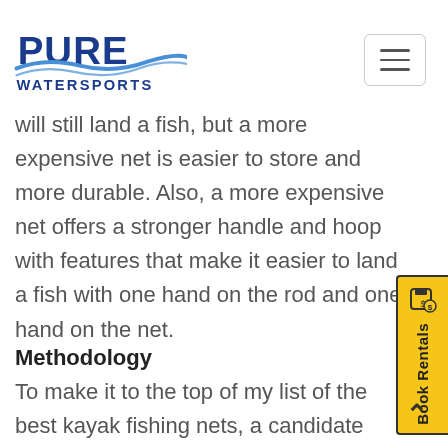Pure Watersports logo and navigation
will still land a fish, but a more expensive net is easier to store and more durable. Also, a more expensive net offers a stronger handle and hoop with features that make it easier to land a fish with one hand on the rod and one hand on the net.
Methodology
To make it to the top of my list of the best kayak fishing nets, a candidate has to be durable,